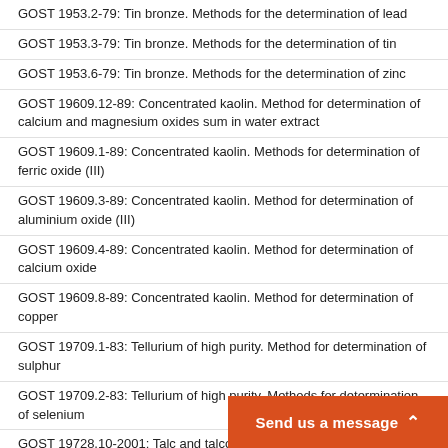GOST 1953.2-79: Tin bronze. Methods for the determination of lead
GOST 1953.3-79: Tin bronze. Methods for the determination of tin
GOST 1953.6-79: Tin bronze. Methods for the determination of zinc
GOST 19609.12-89: Concentrated kaolin. Method for determination of calcium and magnesium oxides sum in water extract
GOST 19609.1-89: Concentrated kaolin. Methods for determination of ferric oxide (III)
GOST 19609.3-89: Concentrated kaolin. Method for determination of aluminium oxide (III)
GOST 19609.4-89: Concentrated kaolin. Method for determination of calcium oxide
GOST 19609.8-89: Concentrated kaolin. Method for determination of copper
GOST 19709.1-83: Tellurium of high purity. Method for determination of sulphur
GOST 19709.2-83: Tellurium of high purity. Methods for determination of selenium
GOST 19728.10-2001: Talc and talcomagnesite. Method for determination of copper
GOST 19728.10-88: Talc and talcomagnesite. Method for determination of copper
GOST 19728.4-2001: Talc and talcomagnesite. Methods for determination of ferric oxide
GOST 19728.4-88: Talc and talcomagnesite. Methods for determination of ferric oxide
GOST 19728.5-2001: Talc and talcomagnesite. Methods for determination of aluminium oxide